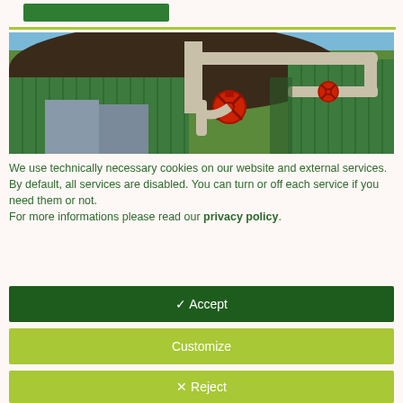[Figure (photo): Industrial biogas or water treatment facility with green corrugated metal walls, a rounded dark roof, large pipes, and red valve wheels visible in an outdoor setting under a blue sky]
We use technically necessary cookies on our website and external services.
By default, all services are disabled. You can turn or off each service if you need them or not.
For more informations please read our privacy policy.
✓ Accept
Customize
✕ Reject